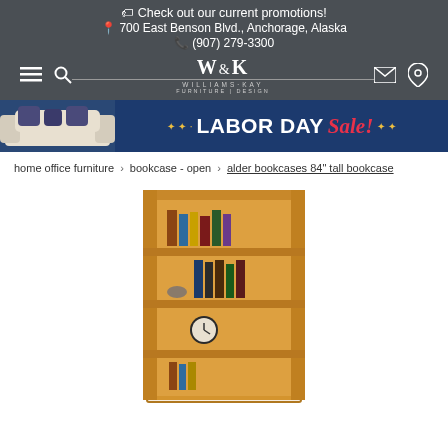🏷 Check out our current promotions!
📍 700 East Benson Blvd., Anchorage, Alaska
📞 (907) 279-3300
[Figure (logo): W&K Williams-Kay Furniture Design logo in white on dark gray background]
[Figure (infographic): Labor Day Sale! banner with navy blue background, sofa image on left, stars and text]
home office furniture › bookcase - open › alder bookcases 84" tall bookcase
[Figure (photo): Tall wooden alder bookcase with multiple shelves containing books, clock, and decorative items]